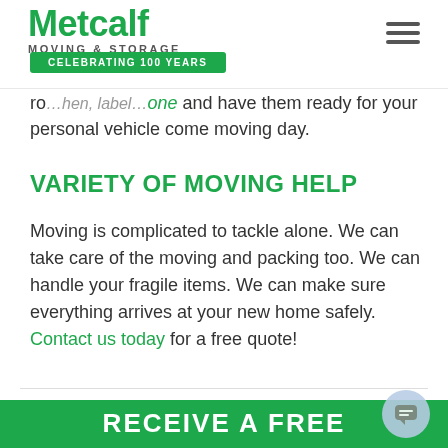[Figure (logo): Metcalf Moving & Storage logo with green text and 'Celebrating 100 Years' ribbon banner]
ready for your personal vehicle come moving day.
VARIETY OF MOVING HELP
Moving is complicated to tackle alone. We can take care of the moving and packing too. We can handle your fragile items. We can make sure everything arrives at your new home safely. Contact us today for a free quote!
[Figure (illustration): Green background section with 'RECEIVE A FREE' text in white and a chat bubble button]
RECEIVE A FREE